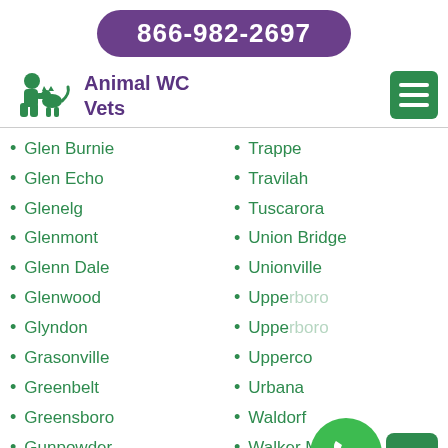866-982-2697
Animal WC Vets
Glen Burnie
Glen Echo
Glenelg
Glenmont
Glenn Dale
Glenwood
Glyndon
Grasonville
Greenbelt
Greensboro
Gunpowder
Gwynn Oak
Trappe
Travilah
Tuscarora
Union Bridge
Unionville
Upper
Upperboro
Upperco
Urbana
Waldorf
Walker Mill
Walkersville